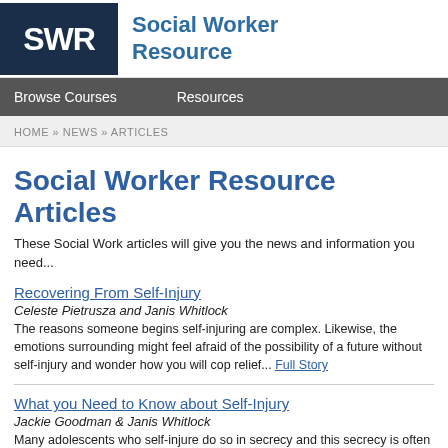SWR Social Worker Resource
Browse Courses   Resources
HOME » NEWS » ARTICLES
Social Worker Resource Articles
These Social Work articles will give you the news and information you need...
Recovering From Self-Injury
Celeste Pietrusza and Janis Whitlock
The reasons someone begins self-injuring are complex. Likewise, the emotions surrounding might feel afraid of the possibility of a future without self-injury and wonder how you will cope relief... Full Story
What you Need to Know about Self-Injury
Jackie Goodman & Janis Whitlock
Many adolescents who self-injure do so in secrecy and this secrecy is often the clearest red times of high involvement with friends or stress, it is not normal for adolescents to be withdraw self-injure become distant and withdrawn—youth who put on a happy face, even when they include:.... Full Story